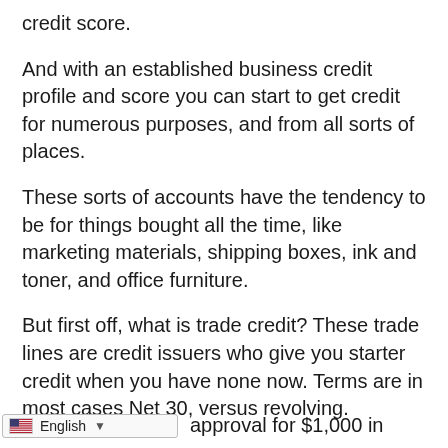credit score.
And with an established business credit profile and score you can start to get credit for numerous purposes, and from all sorts of places.
These sorts of accounts have the tendency to be for things bought all the time, like marketing materials, shipping boxes, ink and toner, and office furniture.
But first off, what is trade credit? These trade lines are credit issuers who give you starter credit when you have none now. Terms are in most cases Net 30, versus revolving.
approval for $1,000 in